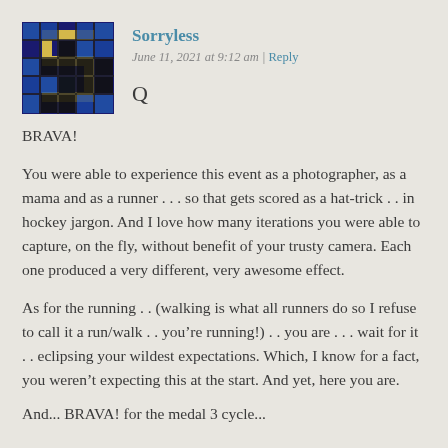[Figure (photo): Mosaic tile avatar image showing a stylized letter S in blue, yellow, and black tiles]
Sorryless
June 11, 2021 at 9:12 am | Reply
Q
BRAVA!
You were able to experience this event as a photographer, as a mama and as a runner . . . so that gets scored as a hat-trick . . in hockey jargon. And I love how many iterations you were able to capture, on the fly, without benefit of your trusty camera. Each one produced a very different, very awesome effect.
As for the running . . (walking is what all runners do so I refuse to call it a run/walk . . you’re running!) . . you are . . . wait for it . . eclipsing your wildest expectations. Which, I know for a fact, you weren’t expecting this at the start. And yet, here you are.
And... BRAVA! for the medal 3 cycle...